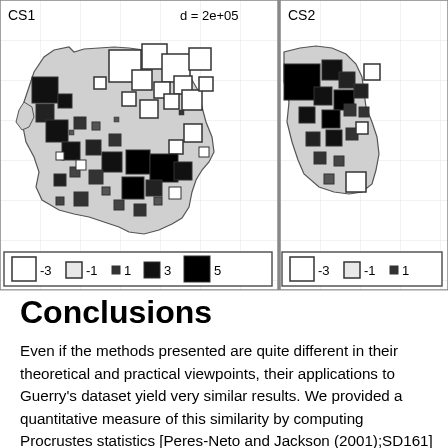[Figure (map): Two choropleth/bubble maps of France (CS1 and CS2) showing spatial components with squares of varying size and fill (white to black) indicating values from -3 to 5. CS1 has label 'd = 2e+05'. Each map has a legend showing symbol sizes and fills for values -3, -1, 1, 3, 5.]
Conclusions
Even if the methods presented are quite different in their theoretical and practical viewpoints, their applications to Guerry's dataset yield very similar results. We provided a quantitative measure of this similarity by computing Procrustes statistics [Peres-Neto and Jackson (2001);SD161] between the